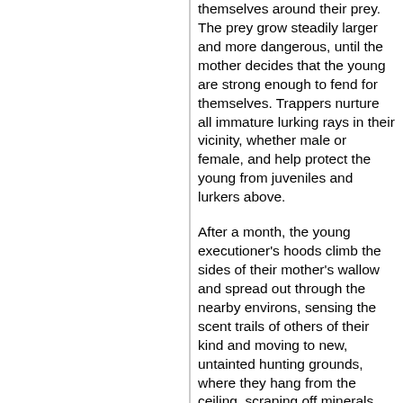themselves around their prey. The prey grow steadily larger and more dangerous, until the mother decides that the young are strong enough to fend for themselves. Trappers nurture all immature lurking rays in their vicinity, whether male or female, and help protect the young from juveniles and lurkers above.
After a month, the young executioner's hoods climb the sides of their mother's wallow and spread out through the nearby environs, sensing the scent trails of others of their kind and moving to new, untainted hunting grounds, where they hang from the ceiling, scraping off minerals